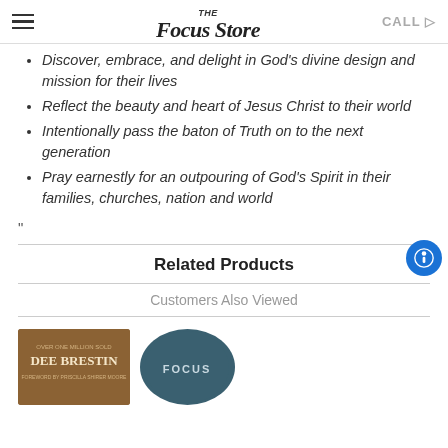The Focus Store — CALL
Discover, embrace, and delight in God's divine design and mission for their lives
Reflect the beauty and heart of Jesus Christ to their world
Intentionally pass the baton of Truth on to the next generation
Pray earnestly for an outpouring of God's Spirit in their families, churches, nation and world
"
Related Products
Customers Also Viewed
[Figure (photo): Book cover by Dee Brestin with brown/tan background]
[Figure (photo): Circular teal/dark blue book or product cover with FOCUS text]